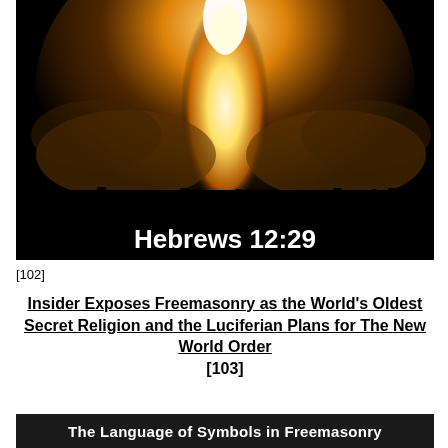[Figure (photo): Dark dramatic photo of silhouetted crowd of people standing before a massive fire explosion/pillar of flame against a black sky, with text overlay reading 'Hebrews 12:29' in bold white font at the bottom of the image.]
[102]
Insider Exposes Freemasonry as the World's Oldest Secret Religion and the Luciferian Plans for The New World Order [103]
[Figure (illustration): Dark banner with white bold text reading 'The Language of Symbols in Freemasonry']